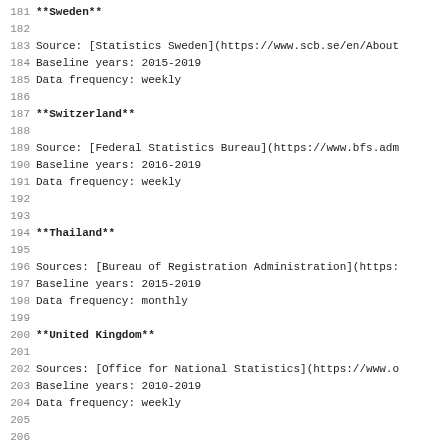181 **Sweden**
182
183 Source: [Statistics Sweden](https://www.scb.se/en/About
184 Baseline years: 2015-2019
185 Data frequency: weekly
186
187 **Switzerland**
188
189 Source: [Federal Statistics Bureau](https://www.bfs.adm
190 Baseline years: 2016-2019
191 Data frequency: weekly
192
193
194 **Thailand**
195
196 Sources: [Bureau of Registration Administration](https:
197 Baseline years: 2015-2019
198 Data frequency: monthly
199
200 **United Kingdom**
201
202 Sources: [Office for National Statistics](https://www.o
203 Baseline years: 2010-2019
204 Data frequency: weekly
205
206
207 **United States**
208
209 Source: [Centers for Disease Control and Prevention](ht
210 Baseline years: 2015-2019
211 Data frequency: weekly
212
213